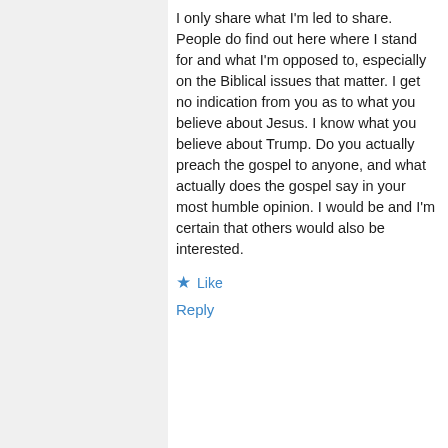I only share what I'm led to share. People do find out here where I stand for and what I'm opposed to, especially on the Biblical issues that matter. I get no indication from you as to what you believe about Jesus. I know what you believe about Trump. Do you actually preach the gospel to anyone, and what actually does the gospel say in your most humble opinion. I would be and I'm certain that others would also be interested.
★ Like
Reply